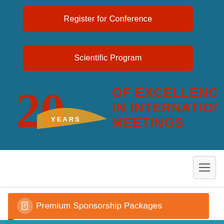[Figure (screenshot): Blue-background conference website section with two red CTA buttons (Register for Conference, Scientific Program) and a 20 Years of Excellence in International Meetings logo with alliedacademies.com banner]
Register for Conference
Scientific Program
[Figure (logo): 20 Years of Excellence in International Meetings logo with large red/gold 20 and years text]
alliedacademies.com
[Figure (screenshot): White navigation bar section with hamburger menu icon]
Premium Sponsorship Packages